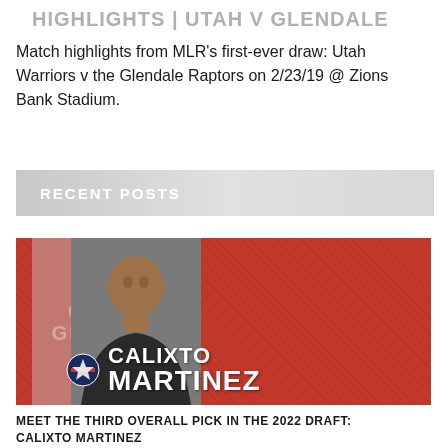HIGHLIGHTS | UTAH V GLENDALE
Match highlights from MLR's first-ever draw: Utah Warriors v the Glendale Raptors on 2/23/19 @ Zions Bank Stadium.
RECENT POSTS
[Figure (photo): Old Glory DC promotional card showing player Calixto Martinez on a red textured background with team logo and player name text overlay]
MEET THE THIRD OVERALL PICK IN THE 2022 DRAFT: CALIXTO MARTINEZ